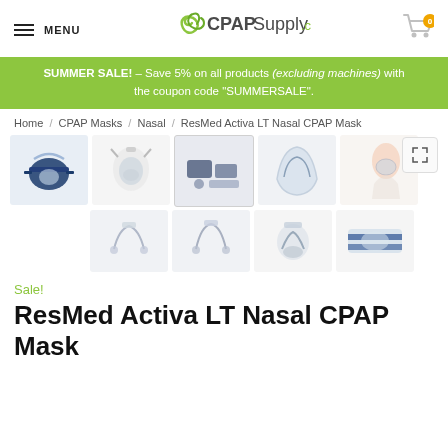MENU | CPAPSupply.ca
SUMMER SALE! – Save 5% on all products (excluding machines) with the coupon code "SUMMERSALE".
Home / CPAP Masks / Nasal / ResMed Activa LT Nasal CPAP Mask
[Figure (photo): Product gallery showing multiple views of the ResMed Activa LT Nasal CPAP Mask including full mask, cushion, headgear, and accessories]
Sale!
ResMed Activa LT Nasal CPAP Mask